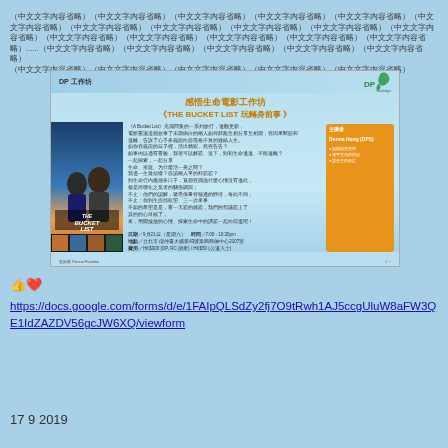（省略中文字符内容）......（省略中文字符内容）
[Figure (illustration): Promotional flyer for DP 工作坊 感悟生命電影工作坊 《THE BUCKET LIST 玩轉身前事》 event, featuring movie poster image of two men, Chinese text description, event details and orange info box with host name Donna Hong (DPS)]
👍❤️
https://docs.google.com/forms/d/e/1FAIpQLSdZy2fj7O9tRwh1AJ5ccgUluW8aFW3QE1IdZAZDV56gcJW6XQ/viewform
17 9 2019